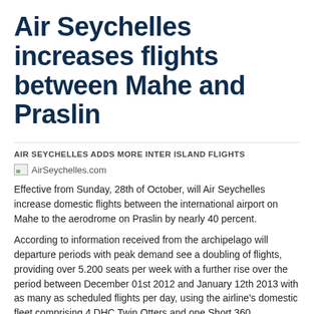Air Seychelles increases flights between Mahe and Praslin
AIR SEYCHELLES ADDS MORE INTER ISLAND FLIGHTS
[Figure (logo): AirSeychelles.com logo/image placeholder]
Effective from Sunday, 28th of October, will Air Seychelles increase domestic flights between the international airport on Mahe to the aerodrome on Praslin by nearly 40 percent.
According to information received from the archipelago will departure periods with peak demand see a doubling of flights, providing over 5.200 seats per week with a further rise over the period between December 01st 2012 and January 12th 2013 with as many as scheduled flights per day, using the airline's domestic fleet comprising 4 DHC Twin Otters and one Short 360.